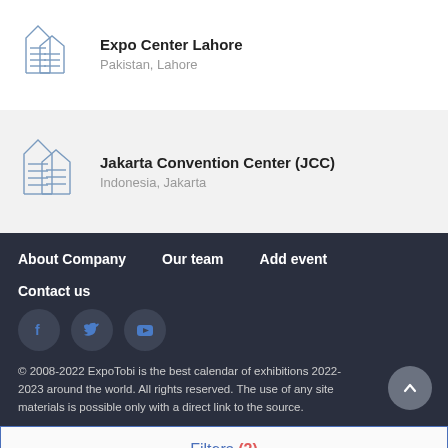Expo Center Lahore
Pakistan, Lahore
[Figure (illustration): Building/venue icon in blue-grey line art style]
Jakarta Convention Center (JCC)
Indonesia, Jakarta
[Figure (illustration): Building/venue icon in blue-grey line art style]
About Company
Our team
Add event
Contact us
[Figure (illustration): Social media icons: Facebook, Twitter, YouTube]
© 2008-2022 ExpoTobi is the best calendar of exhibitions 2022-2023 around the world. All rights reserved. The use of any site materials is possible only with a direct link to the source.
Filters (2)